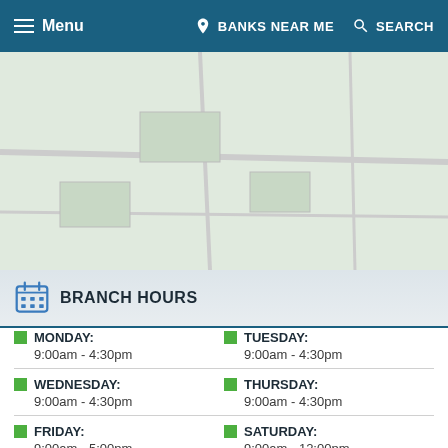Menu | BANKS NEAR ME | SEARCH
[Figure (map): Map area showing bank branch location]
BRANCH HOURS
| Day | Hours |
| --- | --- |
| MONDAY: | 9:00am - 4:30pm |
| TUESDAY: | 9:00am - 4:30pm |
| WEDNESDAY: | 9:00am - 4:30pm |
| THURSDAY: | 9:00am - 4:30pm |
| FRIDAY: | 9:00am - 5:00pm |
| SATURDAY: | 9:00am - 12:00pm |